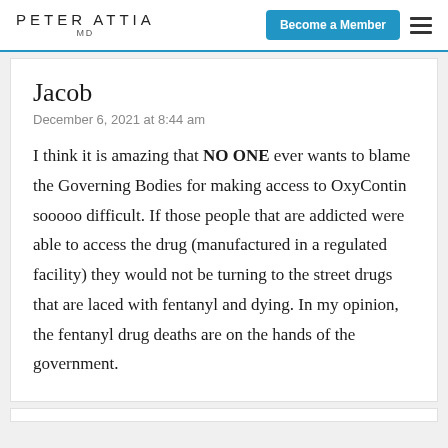PETER ATTIA MD | Become a Member
Jacob
December 6, 2021 at 8:44 am
I think it is amazing that NO ONE ever wants to blame the Governing Bodies for making access to OxyContin sooooo difficult. If those people that are addicted were able to access the drug (manufactured in a regulated facility) they would not be turning to the street drugs that are laced with fentanyl and dying. In my opinion, the fentanyl drug deaths are on the hands of the government.